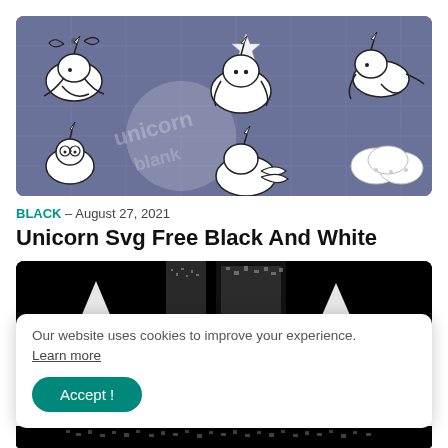[Figure (illustration): Dark blue/grey grid background with cute cartoon unicorn SVG drawings in white and black outlines. Multiple unicorn poses: flying unicorn with bow and wind, sitting unicorn, running unicorn, small unicorn with glasses, unicorn with clouds. A watermark text is partially visible. A star and moon circle are also present.]
BLACK - August 27, 2021
Unicorn Svg Free Black And White
[Figure (illustration): Partial view of black and white unicorn SVG images on a dark/black background, partially obscured by a cookie consent banner.]
Our website uses cookies to improve your experience.
Learn more
Accept !